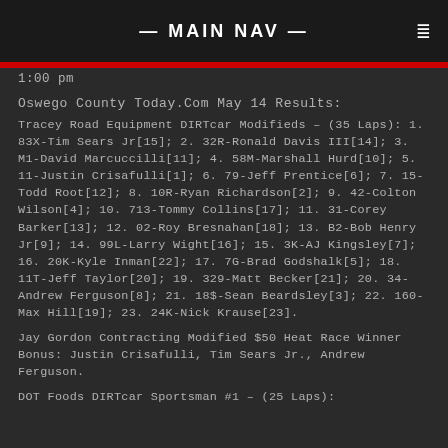— MAIN NAV —
1:00 pm
Oswego County Today.Com May 14 Results:
Tracey Road Equipment DIRTcar Modifieds – (35 Laps): 1. 83X-Tim Sears Jr[15]; 2. 32R-Ronald Davis III[14]; 3. M1-David Marcuccilli[11]; 4. 58M-Marshall Hurd[10]; 5. 11-Justin Crisafulli[1]; 6. 79-Jeff Prentice[6]; 7. 15-Todd Root[12]; 8. 10R-Ryan Richardson[2]; 9. 42-Colton Wilson[4]; 10. 713-Tommy Collins[17]; 11. 31-Corey Barker[13]; 12. 02-Roy Bresnahan[18]; 13. B2-Bob Henry Jr[9]; 14. 99L-Larry Wight[16]; 15. 3K-AJ Kingsley[7]; 16. 20K-Kyle Inman[22]; 17. 7G-Brad Godshalk[5]; 18. 11T-Jeff Taylor[20]; 19. 329-Matt Becker[21]; 20. 34-Andrew Ferguson[8]; 21. 18$-Sean Beardsley[3]; 22. 160-Max Hill[19]; 23. 24K-Nick Krause[23].
Jay Gordon Contracting Modified $50 Heat Race Winner Bonus: Justin Crisafulli, Tim Sears Jr., Andrew Ferguson.
DOT Foods DIRTcar Sportsman #1 – (25 Laps):